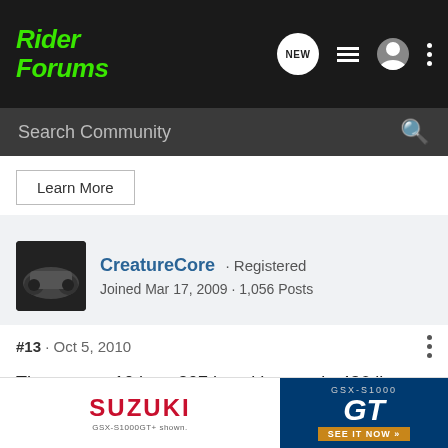Rider Forums
Search Community
Learn More
CreatureCore · Registered
Joined Mar 17, 2009 · 1,056 Posts
#13 · Oct 5, 2010
The new zx-10 has: 207 hp with ram air, 436 lbs, ABS and Traction control, big bore front forks, horizontal back link, new frame design, and more..
http://zx
[Figure (photo): Suzuki GSX-S1000 GT advertisement banner showing motorcycle and 'SEE IT NOW' call to action]